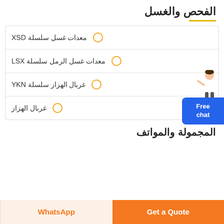الفحص والغسل
معدات غسل سلسلة XSD
معدات غسل الرمل سلسلة LSX
غربال الهزاز سلسلة YKN
غربال الهزاز
المجمولة والمواتف
Get a Quote   WhatsApp